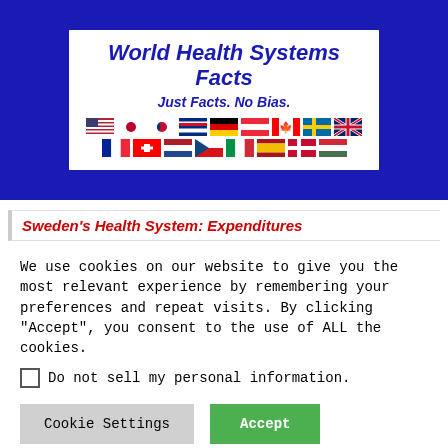[Figure (logo): World Health Systems Facts website header with dark blue background, white inner box containing italic bold dark blue title 'World Health Systems Facts', tagline 'Just Facts. No Bias.', and two rows of country flags including USA, Japan, South Korea, Costa Rica, Germany, Austria, Canada, Sweden, UK, France, Switzerland, Netherlands, Czech Republic, Italy, Spain, Denmark, Hungary]
Sweden’s Health System: Expenditures
We use cookies on our website to give you the most relevant experience by remembering your preferences and repeat visits. By clicking “Accept”, you consent to the use of ALL the cookies.
Do not sell my personal information.